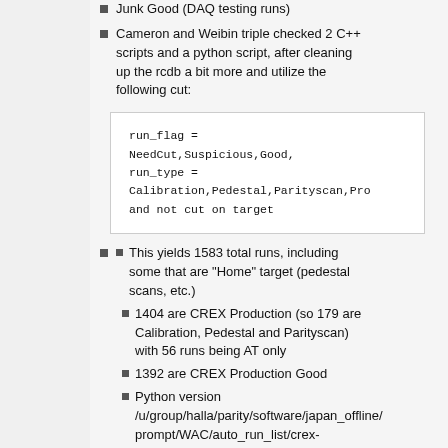Change 3333 to 45 from Test Good to Junk Good (DAQ testing runs)
Cameron and Weibin triple checked 2 C++ scripts and a python script, after cleaning up the rcdb a bit more and utilize the following cut:
This yields 1583 total runs, including some that are "Home" target (pedestal scans, etc.)
1404 are CREX Production (so 179 are Calibration, Pedestal and Parityscan) with 56 runs being AT only
1392 are CREX Production Good
Python version /u/group/halla/parity/software/japan_offline/prompt/WAC/auto_run_list/crex-respin2/CREX-All-run-list.list